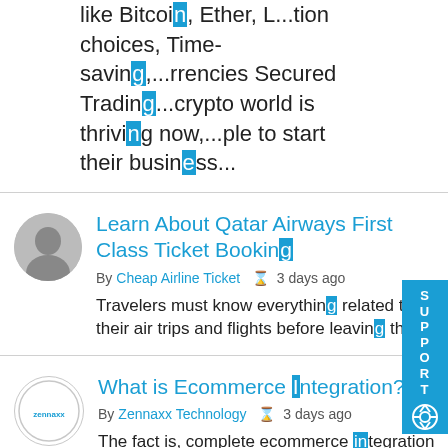like Bitcoin, Ether, L...tion choices, Time-saving,...rrencies Secured Trading...crypto world is thriving now,...ple to start their business...
[Figure (other): User avatar placeholder (grey silhouette)]
Learn About Qatar Airways First Class Ticket Booking
By Cheap Airline Ticket  3 days ago
Travelers must know everything related to their air trips and flights before leaving th...
[Figure (logo): Zennaxx Technology logo in a circle]
What is Ecommerce Integration?
By Zennaxx Technology  3 days ago
The fact is, complete ecommerce integration provides a variety of ways to send and receive reliable data to and